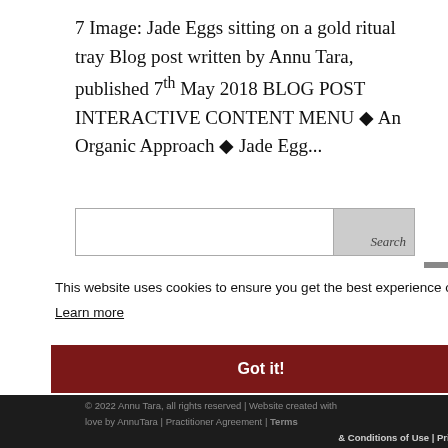7 Image: Jade Eggs sitting on a gold ritual tray Blog post written by Annu Tara, published 7th May 2018 BLOG POST INTERACTIVE CONTENT MENU ◆ An Organic Approach ◆ Jade Egg...
[Figure (screenshot): A search input box with a 'Search' button on the right side]
This website uses cookies to ensure you get the best experience on our website.
Learn more
Got it!
© 2022 Annu Tara, all rights reserved | Website created with love by AnnuTara | Practitioner Agreement | Terms & Conditions of Use | Privacy Policy | Cookie Policy